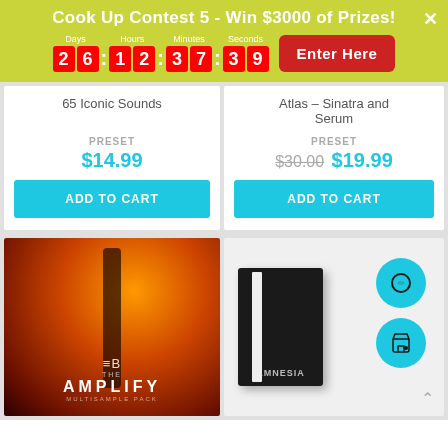Cook Up Contest 5 - Win $3000 of Prizes!
Days: 26 | Hours: 12 | Minutes: 37 | Seconds: 39
Enter Here
65 Iconic Sounds
PRESET
$14.99
ADD TO CART
Atlas – Sinatra and Serum
PRESET
$30.00 $19.99
ADD TO CART
[Figure (photo): Amplify product cover art: fiery background with guitar, EB logo, THE AMPLIFY text]
[Figure (photo): Amnesia product book with teal action icon circles for search and add to cart]